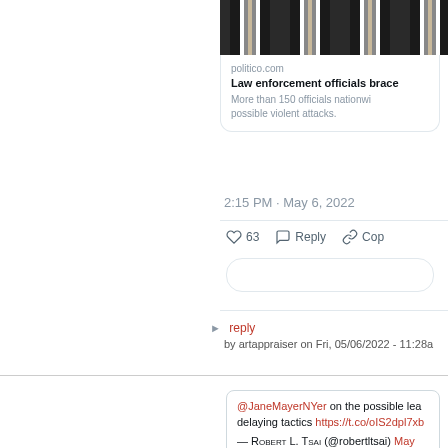[Figure (screenshot): Cropped tweet screenshot showing a Politico article card with a dark striped banner image, article title about law enforcement officials, timestamp 2:15 PM May 6 2022, 63 likes, reply and copy link actions]
politico.com
Law enforcement officials brace
More than 150 officials nationwi possible violent attacks.
2:15 PM · May 6, 2022
63   Reply   Cop
> reply
by artappraiser on Fri, 05/06/2022 - 11:28a
@JaneMayerNYer on the possible lea delaying tactics https://t.co/oIS2dpl7xb
— Robert L. Tsai (@robertltsai) May